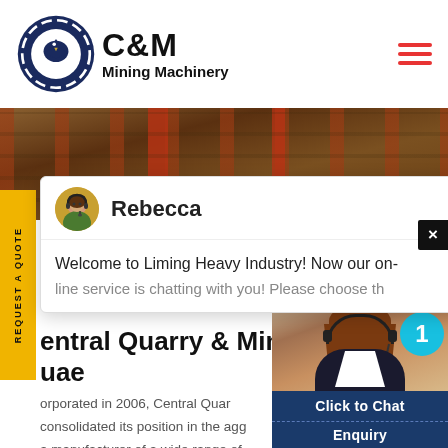C&M Mining Machinery
[Figure (logo): C&M Mining Machinery logo with eagle/gear icon in navy blue circle, bold C&M text and Mining Machinery subtitle]
[Figure (photo): Industrial mining/quarry background image with red metal beams and scaffolding]
REQUEST A QUOTE
[Figure (screenshot): Chat popup with avatar of Rebecca, showing message: Welcome to Liming Heavy Industry! Now our on-line service is chatting with you! Please choose th...]
entral Quarry & Mining uae
orporated in 2006, Central Quar consolidated its position in the agg a manufacturer of a wide range of which confirm to the quality expec
[Figure (photo): Customer service agent (woman with headset) on right side panel with Click to Chat button and Enquiry button, blue badge showing number 1]